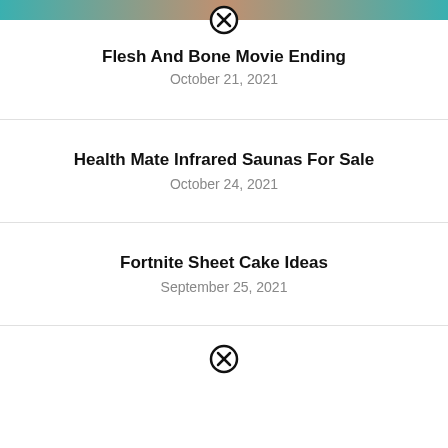[Figure (other): Close/dismiss button (circled X) below a teal/brown image bar]
Flesh And Bone Movie Ending
October 21, 2021
Health Mate Infrared Saunas For Sale
October 24, 2021
Fortnite Sheet Cake Ideas
September 25, 2021
[Figure (other): Close/dismiss button (circled X) at the bottom]